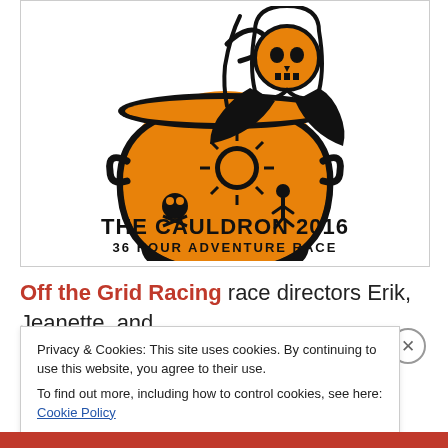[Figure (logo): The Cauldron 2016 logo: a black cartoon grim reaper skeleton stirring an orange cauldron pot containing a sun, skull-and-crossbones, and a running figure. Text below reads 'THE CAULDRON 2016 / 36 HOUR ADVENTURE RACE'.]
Off the Grid Racing race directors Erik, Jeanette, and Craig put together a completely new course for us
Privacy & Cookies: This site uses cookies. By continuing to use this website, you agree to their use.
To find out more, including how to control cookies, see here: Cookie Policy